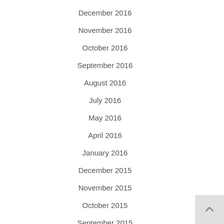December 2016
November 2016
October 2016
September 2016
August 2016
July 2016
May 2016
April 2016
January 2016
December 2015
November 2015
October 2015
September 2015
August 2015
July 2015
June 2015
May 2015